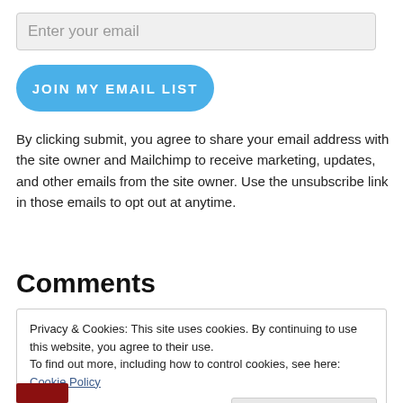Enter your email
JOIN MY EMAIL LIST
By clicking submit, you agree to share your email address with the site owner and Mailchimp to receive marketing, updates, and other emails from the site owner. Use the unsubscribe link in those emails to opt out at anytime.
Comments
Privacy & Cookies: This site uses cookies. By continuing to use this website, you agree to their use.
To find out more, including how to control cookies, see here: Cookie Policy
Close and accept